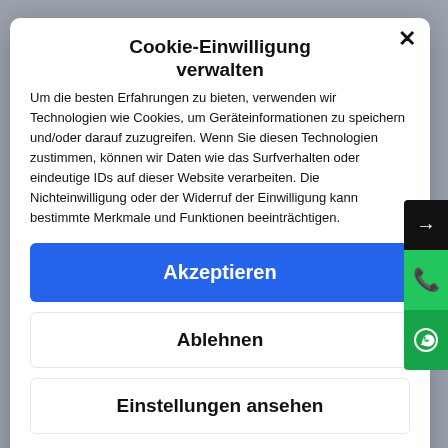Cookie-Einwilligung verwalten
Um die besten Erfahrungen zu bieten, verwenden wir Technologien wie Cookies, um Geräteinformationen zu speichern und/oder darauf zuzugreifen. Wenn Sie diesen Technologien zustimmen, können wir Daten wie das Surfverhalten oder eindeutige IDs auf dieser Website verarbeiten. Die Nichteinwilligung oder der Widerruf der Einwilligung kann bestimmte Merkmale und Funktionen beeinträchtigen.
Akzeptieren
Ablehnen
Einstellungen ansehen
Impressum